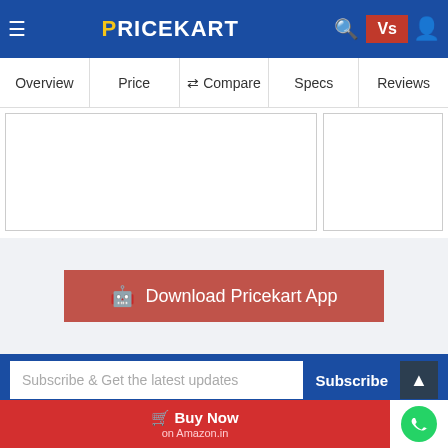PRICEKART
Overview | Price | Compare | Specs | Reviews
[Figure (screenshot): Two product comparison boxes, partially visible]
Download Pricekart App
Subscribe & Get the latest updates
Subscribe
f  G+  (twitter)  (instagram)  in  (youtube)
Buy Now on Amazon.in